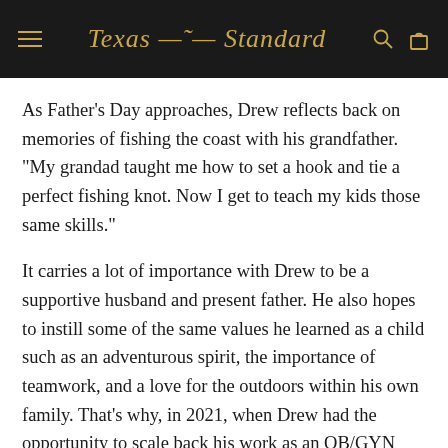Texas Standard
As Father's Day approaches, Drew reflects back on memories of fishing the coast with his grandfather. "My grandad taught me how to set a hook and tie a perfect fishing knot. Now I get to teach my kids those same skills."
It carries a lot of importance with Drew to be a supportive husband and present father. He also hopes to instill some of the same values he learned as a child such as an adventurous spirit, the importance of teamwork, and a love for the outdoors within his own family. That's why, in 2021, when Drew had the opportunity to scale back his work as an OB/GYN and launch an adventure trailer rental business together with his wife, he knew it was the right decision